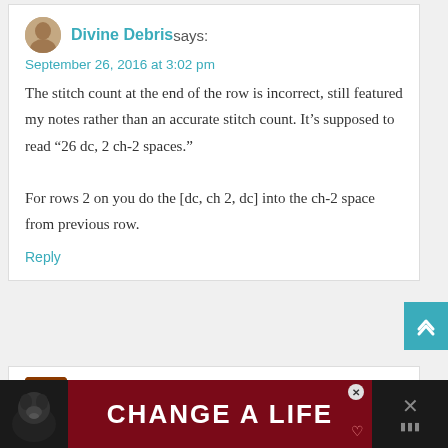Divine Debris says:
September 26, 2016 at 3:02 pm
The stitch count at the end of the row is incorrect, still featured my notes rather than an accurate stitch count. It’s supposed to read “26 dc, 2 ch-2 spaces.” For rows 2 on you do the [dc, ch 2, dc] into the ch-2 space from previous row.
Reply
Shirley Bingaman says: